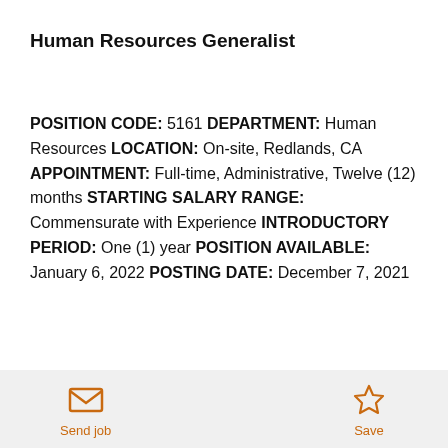Human Resources Generalist
POSITION CODE: 5161 DEPARTMENT: Human Resources LOCATION: On-site, Redlands, CA APPOINTMENT: Full-time, Administrative, Twelve (12) months STARTING SALARY RANGE: Commensurate with Experience INTRODUCTORY PERIOD: One (1) year POSITION AVAILABLE: January 6, 2022 POSTING DATE: December 7, 2021
Send job   Save